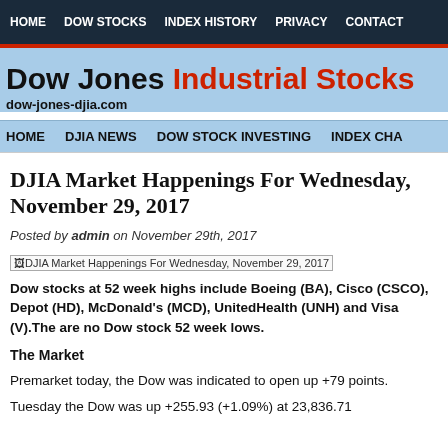HOME   DOW STOCKS   INDEX HISTORY   PRIVACY   CONTACT
Dow Jones Industrial Stocks
dow-jones-djia.com
HOME   DJIA NEWS   DOW STOCK INVESTING   INDEX CHA
DJIA Market Happenings For Wednesday, November 29, 2017
Posted by admin on November 29th, 2017
[Figure (screenshot): DJIA Market Happenings For Wednesday, November 29, 2017 image placeholder]
Dow stocks at 52 week highs include Boeing (BA), Cisco (CSCO), Depot (HD), McDonald's (MCD), UnitedHealth (UNH) and Visa (V).There are no Dow stock 52 week lows.
The Market
Premarket today, the Dow was indicated to open up +79 points.
Tuesday the Dow was up +255.93 (+1.09%) at 23,836.71